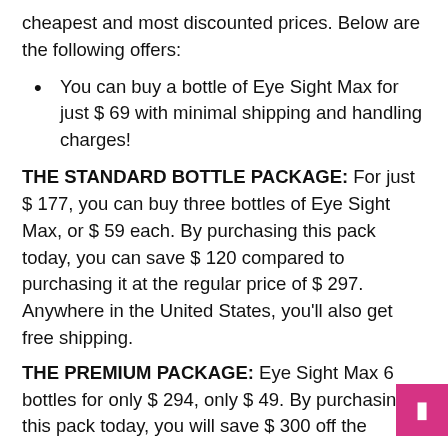cheapest and most discounted prices. Below are the following offers:
You can buy a bottle of Eye Sight Max for just $ 69 with minimal shipping and handling charges!
THE STANDARD BOTTLE PACKAGE: For just $ 177, you can buy three bottles of Eye Sight Max, or $ 59 each. By purchasing this pack today, you can save $ 120 compared to purchasing it at the regular price of $ 297. Anywhere in the United States, you'll also get free shipping.
THE PREMIUM PACKAGE: Eye Sight Max 6 bottles for only $ 294, only $ 49. By purchasing this pack today, you will save $ 300 off the